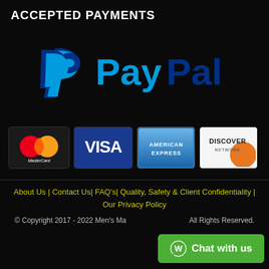ACCEPTED PAYMENTS
[Figure (logo): PayPal logo with blue double-P symbol and PayPal text in blue on dark background]
[Figure (logo): Four payment card logos: MasterCard, Visa, American Express, Discover Network]
About Us | Contact Us| FAQ's| Quality, Safety & Client Confidentiality | Our Privacy Policy
© Copyright 2017 - 2022 Men's Ma... All Rights Reserved.
[Figure (infographic): WhatsApp Chat with us green button]